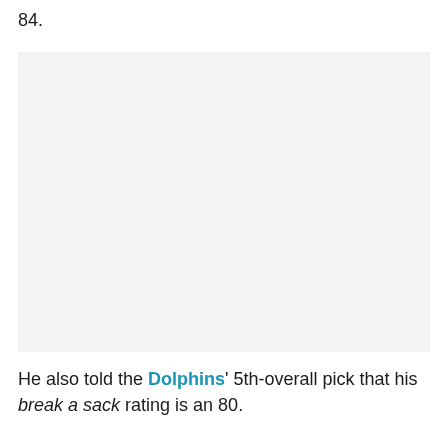84.
[Figure (photo): Large image placeholder with light gray background]
He also told the Dolphins' 5th-overall pick that his break a sack rating is an 80.